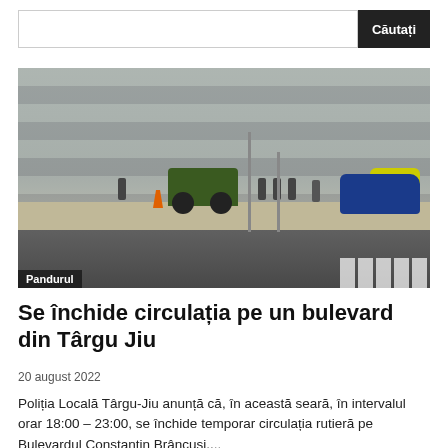[Figure (other): Search bar with input field and dark 'Căutați' button]
[Figure (photo): Street scene in front of a large modern building (Pandurul stadium/arena), showing workers with a tractor, orange cone, pedestrians, and a blue car on the road. Caption reads 'Pandurul'.]
Se închide circulația pe un bulevard din Târgu Jiu
20 august 2022
Poliția Locală Târgu-Jiu anunță că, în această seară, în intervalul orar 18:00 – 23:00, se închide temporar circulația rutieră pe Bulevardul Constantin Brâncuși....